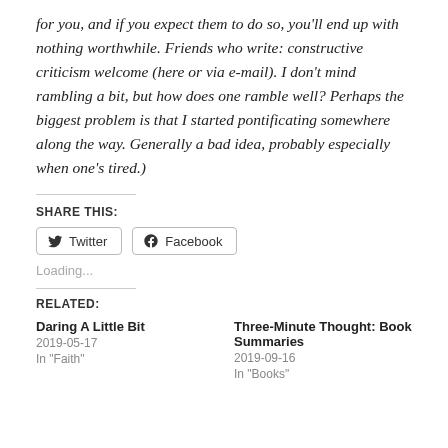for you, and if you expect them to do so, you'll end up with nothing worthwhile. Friends who write: constructive criticism welcome (here or via e-mail). I don't mind rambling a bit, but how does one ramble well? Perhaps the biggest problem is that I started pontificating somewhere along the way. Generally a bad idea, probably especially when one's tired.)
SHARE THIS:
[Figure (other): Twitter and Facebook share buttons]
Loading...
RELATED:
Daring A Little Bit
2019-05-17
In "Faith"
Three-Minute Thought: Book Summaries
2019-09-16
In "Books"